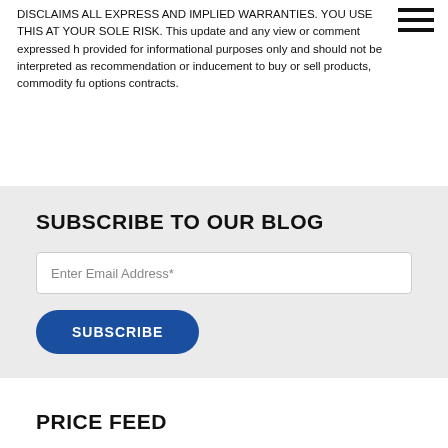DISCLAIMS ALL EXPRESS AND IMPLIED WARRANTIES. YOU USE THIS AT YOUR SOLE RISK. This update and any view or comment expressed herein is provided for informational purposes only and should not be interpreted in any way as recommendation or inducement to buy or sell products, commodity futures, or options contracts.
SUBSCRIBE TO OUR BLOG
Enter Email Address*
SUBSCRIBE
PRICE FEED